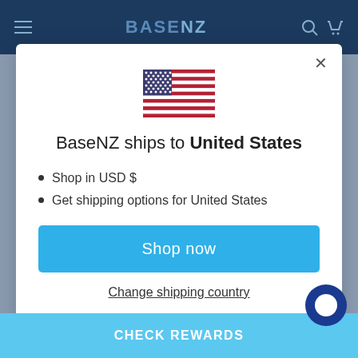[Figure (screenshot): Website navigation bar with dark blue background, hamburger menu, BaseNZ logo, and search/cart icons]
[Figure (illustration): US flag emoji/icon centered in modal]
BaseNZ ships to United States
Shop in USD $
Get shipping options for United States
Shop now
Change shipping country
CHECK REWARDS